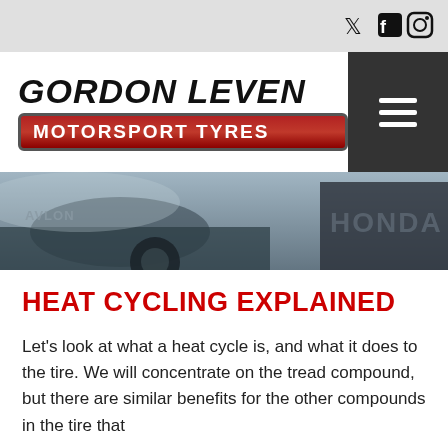Social icons: Twitter, Facebook, Instagram
[Figure (logo): Gordon Leven Motorsport Tyres logo with bold italic text and red badge]
[Figure (photo): Hero banner photo showing race car parts with 'HONDA' text visible, bluish-grey tones]
HEAT CYCLING EXPLAINED
Let's look at what a heat cycle is, and what it does to the tire. We will concentrate on the tread compound, but there are similar benefits for the other compounds in the tire that